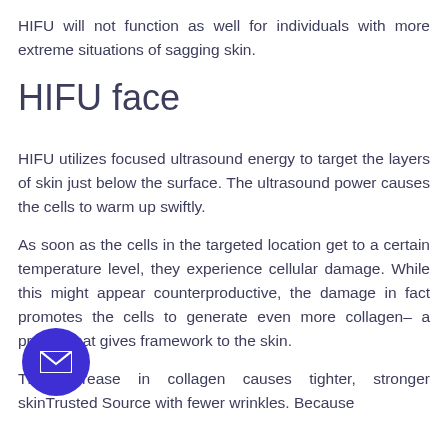HIFU will not function as well for individuals with more extreme situations of sagging skin.
HIFU face
HIFU utilizes focused ultrasound energy to target the layers of skin just below the surface. The ultrasound power causes the cells to warm up swiftly.
As soon as the cells in the targeted location get to a certain temperature level, they experience cellular damage. While this might appear counterproductive, the damage in fact promotes the cells to generate even more collagen– a protein that gives framework to the skin.
The increase in collagen causes tighter, stronger skinTrusted Source with fewer wrinkles. Because